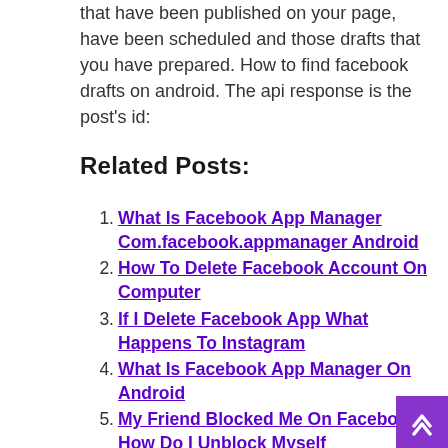that have been published on your page, have been scheduled and those drafts that you have prepared. How to find facebook drafts on android. The api response is the post's id:
Related Posts:
What Is Facebook App Manager Com.facebook.appmanager Android
How To Delete Facebook Account On Computer
If I Delete Facebook App What Happens To Instagram
What Is Facebook App Manager On Android
My Friend Blocked Me On Facebook How Do I Unblock Myself
Best Monk Fruit Sweetener Brand
G Switch 2 Unblocked No Flash